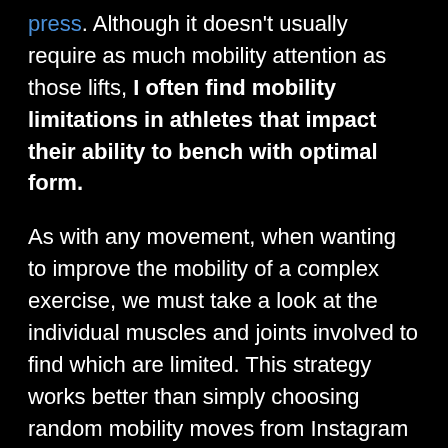press. Although it doesn't usually require as much mobility attention as those lifts, I often find mobility limitations in athletes that impact their ability to bench with optimal form.

As with any movement, when wanting to improve the mobility of a complex exercise, we must take a look at the individual muscles and joints involved to find which are limited. This strategy works better than simply choosing random mobility moves from Instagram or YouTube and hoping they work.